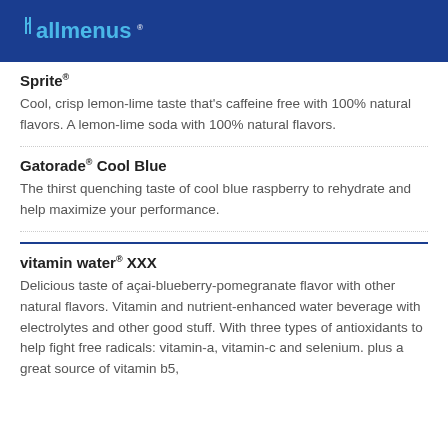allmenus
Sprite®
Cool, crisp lemon-lime taste that's caffeine free with 100% natural flavors. A lemon-lime soda with 100% natural flavors.
Gatorade® Cool Blue
The thirst quenching taste of cool blue raspberry to rehydrate and help maximize your performance.
vitamin water® XXX
Delicious taste of açai-blueberry-pomegranate flavor with other natural flavors. Vitamin and nutrient-enhanced water beverage with electrolytes and other good stuff. With three types of antioxidants to help fight free radicals: vitamin-a, vitamin-c and selenium. plus a great source of vitamin b5,